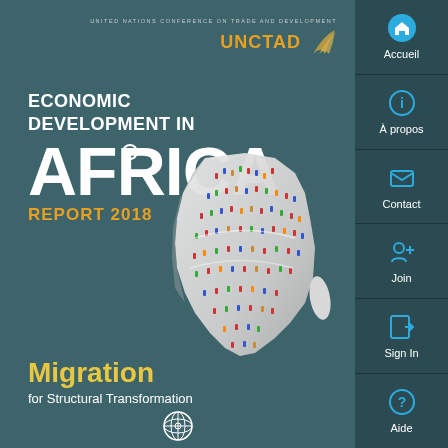UNITED NATIONS CONFERENCE ON TRADE AND DEVELOPMENT UNCTAD
ECONOMIC DEVELOPMENT IN AFRICA REPORT 2018
[Figure (illustration): Map of Africa rendered in white/grey 3D perspective covered with small colourful human figures representing migrants]
Migration for Structural Transformation
[Figure (logo): United Nations circular emblem at bottom of cover]
Accueil
À propos
Contact
Join
Sign In
Aide